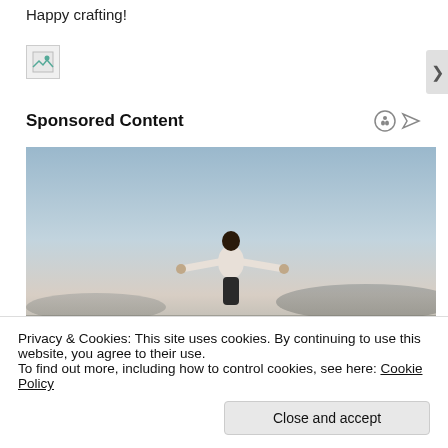Happy crafting!
[Figure (other): Broken/placeholder image icon (small, top-left area)]
Sponsored Content
[Figure (photo): Person with arms spread wide against a light blue sky and distant hills, viewed from behind, wearing a white shirt]
Privacy & Cookies: This site uses cookies. By continuing to use this website, you agree to their use.
To find out more, including how to control cookies, see here: Cookie Policy
Close and accept